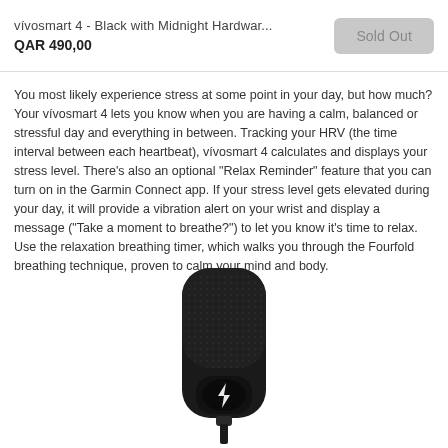vívosmart 4 - Black with Midnight Hardwar...
QAR 490,00
Sold Out
You most likely experience stress at some point in your day, but how much? Your vívosmart 4 lets you know when you are having a calm, balanced or stressful day and everything in between. Tracking your HRV (the time interval between each heartbeat), vívosmart 4 calculates and displays your stress level. There's also an optional "Relax Reminder" feature that you can turn on in the Garmin Connect app. If your stress level gets elevated during your day, it will provide a vibration alert on your wrist and display a message ("Take a moment to breathe?") to let you know it's time to relax. Use the relaxation breathing timer, which walks you through the Fourfold breathing technique, proven to calm your mind and body.
[Figure (photo): Photo of the vívosmart 4 fitness tracker device in black color, showing the back/charging port side of the device with a charging cable connector visible and a lightning bolt icon.]